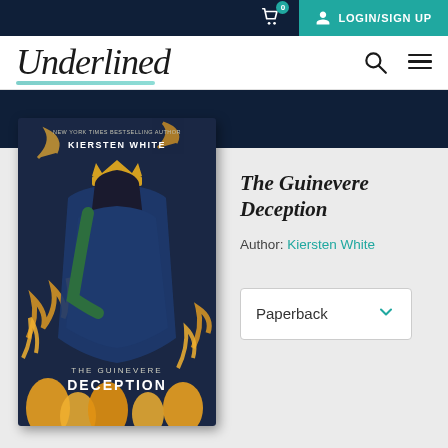0  LOGIN/SIGN UP
[Figure (logo): Underlined logo – script/italic wordmark with teal underline decoration]
[Figure (photo): Book cover of The Guinevere Deception by Kiersten White – dark blue fantasy cover featuring a young woman with a golden crown, yellow fire/flame motifs, text: NEW YORK TIMES BESTSELLING AUTHOR KIERSTEN WHITE, THE GUINEVERE DECEPTION]
The Guinevere Deception
Author: Kiersten White
Paperback